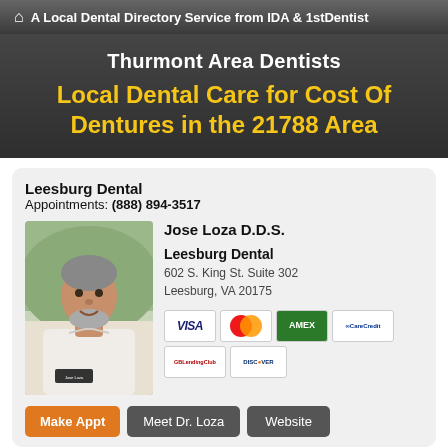A Local Dental Directory Service from IDA & 1stDentist
Thurmont Area Dentists
Local Dental Care for Cost Of Dentures in the 21788 Area
Leesburg Dental
Appointments: (888) 894-3517
[Figure (photo): Portrait photo of Jose Loza D.D.S., a middle-aged man with gray hair and beard wearing a white coat]
Jose Loza D.D.S.
Leesburg Dental
602 S. King St. Suite 302
Leesburg, VA 20175
[Figure (other): Payment method icons: VISA, MasterCard, American Express, CareCredit, LendingClub, Discover]
Make Appt  Meet Dr. Loza  Website